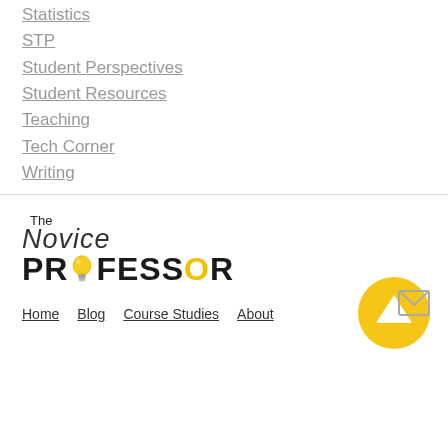Statistics
STP
Student Perspectives
Student Resources
Teaching
Tech Corner
Writing
[Figure (logo): The Novice Professor logo with lightbulb graphic replacing the 'O' in PROFESSOR]
Home   Blog   Course Studies   About